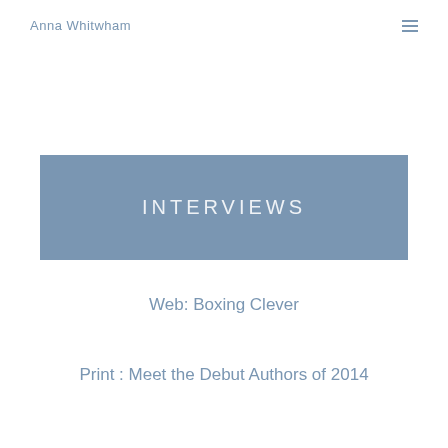Anna Whitwham
INTERVIEWS
Web: Boxing Clever
Print : Meet the Debut Authors of 2014